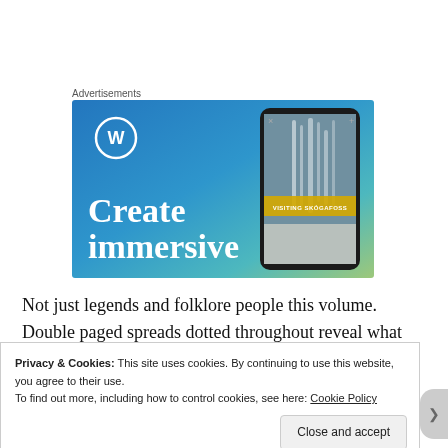Advertisements
[Figure (screenshot): WordPress advertisement banner showing the WordPress logo (W in circle), text 'Create immersive' in white serif font on a blue-to-green gradient background, and a smartphone displaying a waterfall image with text 'VISITING SKÓGAFOSS']
Not just legends and folklore people this volume. Double paged spreads dotted throughout reveal what we know and believe about such stories as Atlantis, the Flying Dutchman and
Privacy & Cookies: This site uses cookies. By continuing to use this website, you agree to their use.
To find out more, including how to control cookies, see here: Cookie Policy
Close and accept